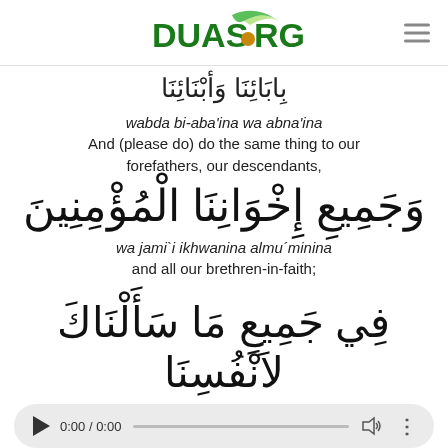DUAS.ORG
wabda bi-aba'ina wa abna'ina
And (please do) do the same thing to our forefathers, our descendants,
[Figure (other): Arabic script: wa jami`i ikhwanina almu'minina]
wa jami`i ikhwanina almu´minina
and all our brethren-in-faith;
[Figure (other): Arabic script: fi jami`i ma sa-alnaka]
fi jami`i ma sa-alnaka
with regard to all that which we have besought